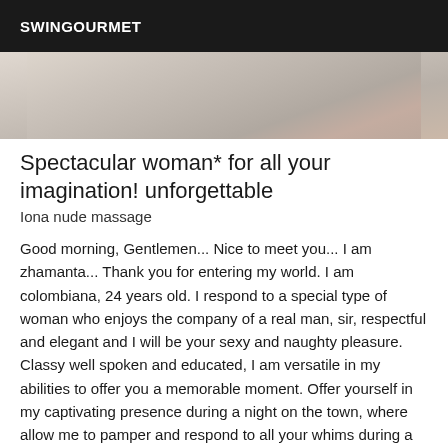SWINGOURMET
[Figure (photo): Partial view of a person lying on light-colored bedding or cushions, cropped image showing fabric and partial body]
Spectacular woman* for all your imagination! unforgettable
Iona nude massage
Good morning, Gentlemen... Nice to meet you... I am zhamanta... Thank you for entering my world. I am colombiana, 24 years old. I respond to a special type of woman who enjoys the company of a real man, sir, respectful and elegant and I will be your sexy and naughty pleasure. Classy well spoken and educated, I am versatile in my abilities to offer you a memorable moment. Offer yourself in my captivating presence during a night on the town, where allow me to pamper and respond to all your whims during a sexy night by bringing your most discreet and private fantasies to me, and we will explore them together. Of...